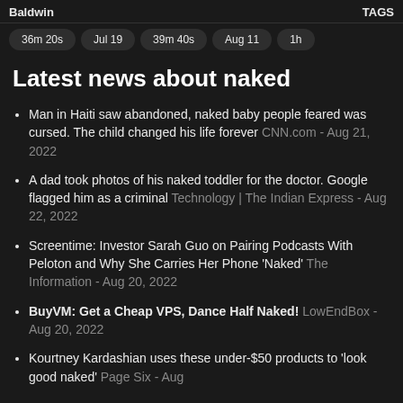Baldwin | TAGS
36m 20s | Jul 19 | 39m 40s | Aug 11 | 1h
Latest news about naked
Man in Haiti saw abandoned, naked baby people feared was cursed. The child changed his life forever CNN.com - Aug 21, 2022
A dad took photos of his naked toddler for the doctor. Google flagged him as a criminal Technology | The Indian Express - Aug 22, 2022
Screentime: Investor Sarah Guo on Pairing Podcasts With Peloton and Why She Carries Her Phone 'Naked' The Information - Aug 20, 2022
BuyVM: Get a Cheap VPS, Dance Half Naked! LowEndBox - Aug 20, 2022
Kourtney Kardashian uses these under-$50 products to 'look good naked' Page Six - Aug